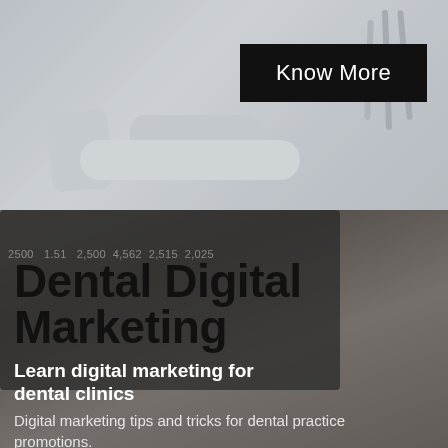[Figure (photo): Dental chair equipment in a clinic, muted gray tones with dental tools visible on the right side]
Know More
[Figure (photo): Laptop computer displaying a dashboard with analytics charts and numbers (2500, 1.51, 2,500, 4,562, 2,515, 2,025), with a blurred background showing shelving]
Dental Digital Marketing
Learn digital marketing for dental clinics
Digital marketing tips and tricks for dental practice promotions.